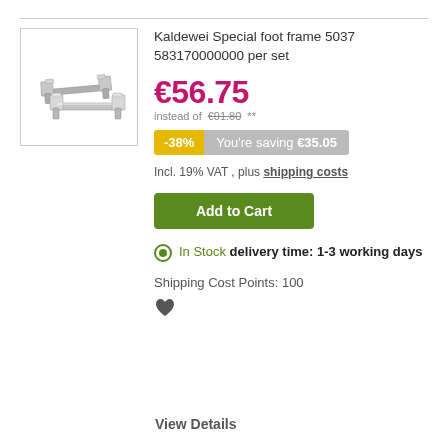[Figure (photo): Product photo of Kaldewei Special foot frame 5037, showing two chrome/silver metal foot frames side by side on white background]
Kaldewei Special foot frame 5037 583170000000 per set
€56.75 instead of €91.80 **
-38% You're saving €35.05
Incl. 19% VAT , plus shipping costs
Add to Cart
In Stock delivery time: 1-3 working days
Shipping Cost Points: 100
View Details